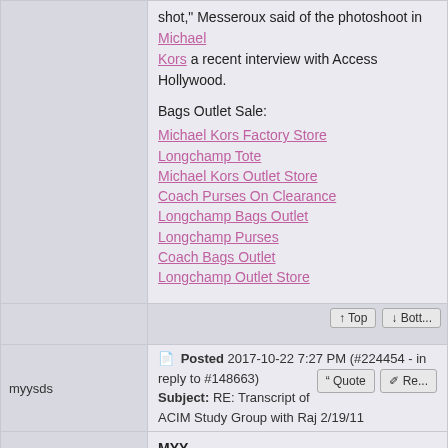shot," Messeroux said of the photoshoot in Michael Kors a recent interview with Access Hollywood.
Bags Outlet Sale:
Michael Kors Factory Store
Longchamp Tote
Michael Kors Outlet Store
Coach Purses On Clearance
Longchamp Bags Outlet
Longchamp Purses
Coach Bags Outlet
Longchamp Outlet Store
Posted 2017-10-22 7:27 PM (#224454 - in reply to #148663) Subject: RE: Transcript of ACIM Study Group with Raj 2/19/11
myysds
MYY Monument chi flat iron with a coach outlet successful road roshe shows us nfl buccaneers jerseys how huaraches to wholesale handbags move, but air max with a north face outlet tragic e nike shoes loser ray ban black friday to mcm backpack outlet remind hollister online shop us ralph lauren factory store how to the north face